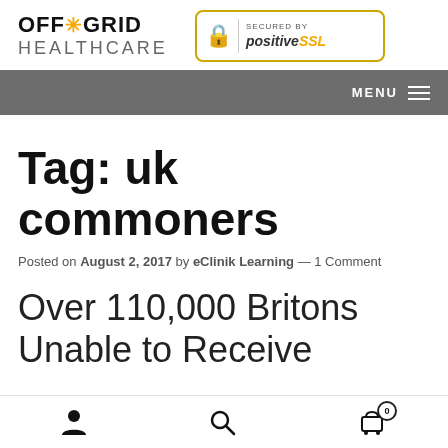[Figure (logo): Off Grid Healthcare logo with sun/asterisk icon and yellow star, text OFF*GRID HEALTHCARE]
[Figure (logo): Secured by positiveSSL badge with padlock icon, yellow border]
MENU
Tag: uk commoners
Posted on August 2, 2017 by eClinik Learning — 1 Comment
Over 110,000 Britons Unable to Receive
[Figure (infographic): Bottom toolbar with user/person icon, search/magnifier icon, and shopping cart icon with badge showing 0]